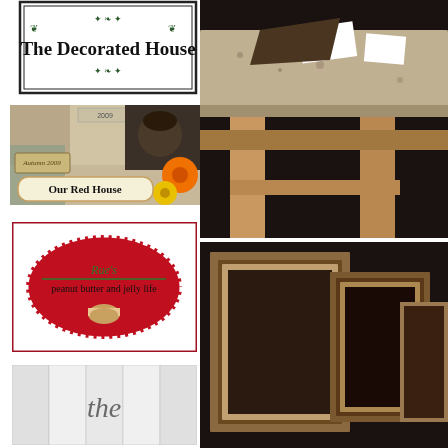[Figure (logo): The Decorated House blog logo with ornate black frame and decorative scrollwork text]
[Figure (logo): Our Red House blog banner with scrapbook-style collage, autumn 2009, flowers, and muffin photo]
[Figure (logo): Rue's peanut butter and jelly life blog logo with red gingham oval badge and sandwich icon in red border frame]
[Figure (logo): Partial blog logo with 'the' in script on white panel with grey dividers]
[Figure (photo): Close-up photo of antique wooden table or furniture piece with granite or stone top and price tag, on dark background]
[Figure (photo): Partial photo of wooden picture frames leaning against dark background]